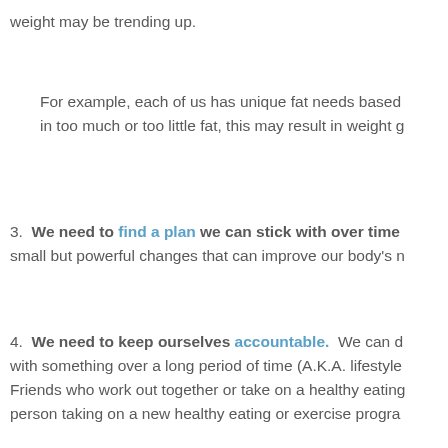weight may be trending up.
For example, each of us has unique fat needs based in too much or too little fat, this may result in weight g
3. We need to find a plan we can stick with over time small but powerful changes that can improve our body's n
4. We need to keep ourselves accountable. We can d with something over a long period of time (A.K.A. lifestyle Friends who work out together or take on a healthy eating person taking on a new healthy eating or exercise progra